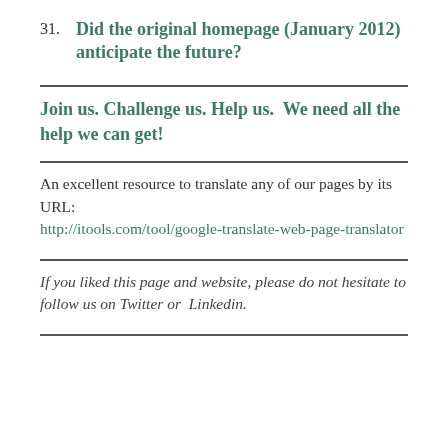31. Did the original homepage (January 2012) anticipate the future?
Join us. Challenge us. Help us.  We need all the help we can get!
An excellent resource to translate any of our pages by its URL: http://itools.com/tool/google-translate-web-page-translator
If you liked this page and website, please do not hesitate to follow us on Twitter or  Linkedin.